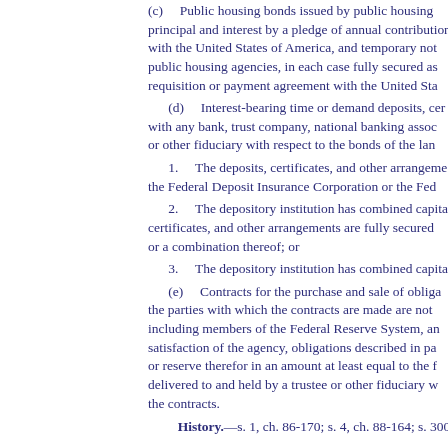(c)    Public housing bonds issued by public housing...principal and interest by a pledge of annual contributions with the United States of America, and temporary notes of public housing agencies, in each case fully secured as to requisition or payment agreement with the United States...
(d)    Interest-bearing time or demand deposits, certificates... with any bank, trust company, national banking association, or other fiduciary with respect to the bonds of the land...
1.    The deposits, certificates, and other arrangements... the Federal Deposit Insurance Corporation or the Federal...
2.    The depository institution has combined capital... certificates, and other arrangements are fully secured... or a combination thereof; or
3.    The depository institution has combined capital...
(e)    Contracts for the purchase and sale of obligations... the parties with which the contracts are made are not... including members of the Federal Reserve System, and... satisfaction of the agency, obligations described in paragraphs... or reserve therefor in an amount at least equal to the face... delivered to and held by a trustee or other fiduciary... the contracts.
History.—s. 1, ch. 86-170; s. 4, ch. 88-164; s. 300, ch. 92-27...
380.0663    Land authority; creation, members...